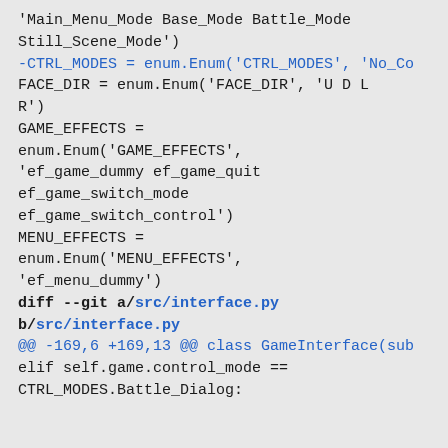'Main_Menu_Mode Base_Mode Battle_Mode Still_Scene_Mode')
-CTRL_MODES = enum.Enum('CTRL_MODES', 'No_Co
FACE_DIR = enum.Enum('FACE_DIR', 'U D L R')
GAME_EFFECTS =
enum.Enum('GAME_EFFECTS',
'ef_game_dummy ef_game_quit
ef_game_switch_mode
ef_game_switch_control')
MENU_EFFECTS =
enum.Enum('MENU_EFFECTS',
'ef_menu_dummy')
diff --git a/src/interface.py
b/src/interface.py
@@ -169,6 +169,13 @@ class GameInterface(sub
elif self.game.control_mode ==
CTRL_MODES.Battle_Dialog: